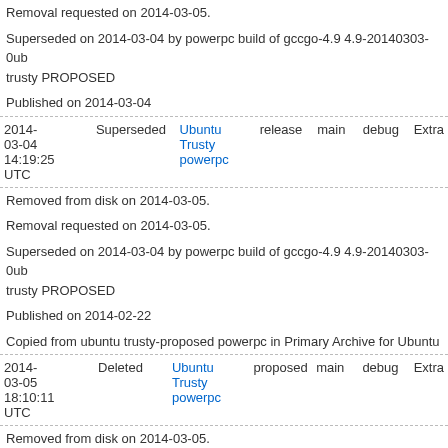Removal requested on 2014-03-05.
Superseded on 2014-03-04 by powerpc build of gccgo-4.9 4.9-20140303-0ub trusty PROPOSED
Published on 2014-03-04
| Date | Status | Target | Pocket | Component | Section | Priority |
| --- | --- | --- | --- | --- | --- | --- |
| 2014-03-04 14:19:25 UTC | Superseded | Ubuntu Trusty powerpc | release | main | debug | Extra |
Removed from disk on 2014-03-05.
Removal requested on 2014-03-05.
Superseded on 2014-03-04 by powerpc build of gccgo-4.9 4.9-20140303-0ub trusty PROPOSED
Published on 2014-02-22
Copied from ubuntu trusty-proposed powerpc in Primary Archive for Ubuntu
| Date | Status | Target | Pocket | Component | Section | Priority |
| --- | --- | --- | --- | --- | --- | --- |
| 2014-03-05 18:10:11 UTC | Deleted | Ubuntu Trusty powerpc | proposed | main | debug | Extra |
Removed from disk on 2014-03-05.
Removal requested on 2014-02-22.
Deleted on 2014-02-22 by Ubuntu Archive Robot
moved to release.